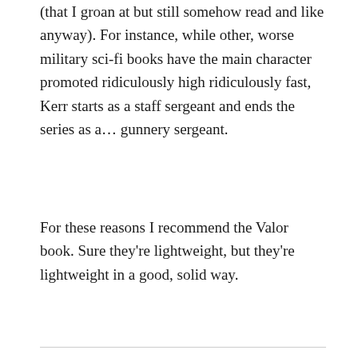(that I groan at but still somehow read and like anyway). For instance, while other, worse military sci-fi books have the main character promoted ridiculously high ridiculously fast, Kerr starts as a staff sergeant and ends the series as a… gunnery sergeant.
For these reasons I recommend the Valor book. Sure they're lightweight, but they're lightweight in a good, solid way.